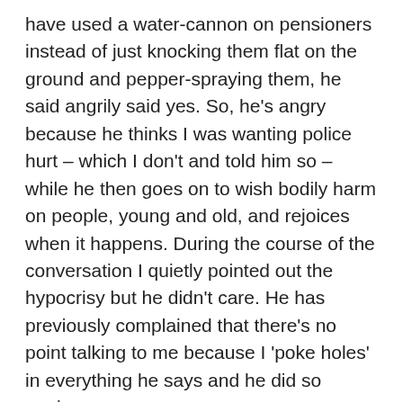have used a water-cannon on pensioners instead of just knocking them flat on the ground and pepper-spraying them, he said angrily said yes. So, he's angry because he thinks I was wanting police hurt – which I don't and told him so – while he then goes on to wish bodily harm on people, young and old, and rejoices when it happens. During the course of the conversation I quietly pointed out the hypocrisy but he didn't care. He has previously complained that there's no point talking to me because I 'poke holes' in everything he says and he did so again.
I don't take his anger personally and I don't push the conversation because I know he's not angry at me.
He has a long-standing belief...